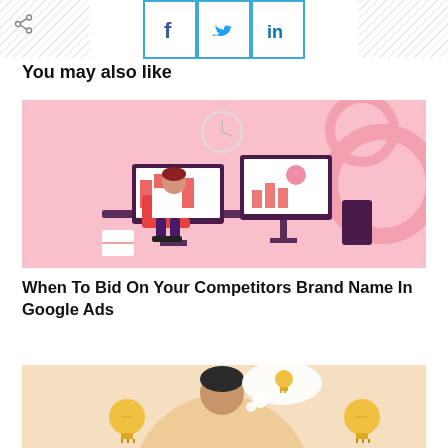[Figure (infographic): Social share bar with Facebook, Twitter, and LinkedIn buttons, flanked by diagonal hatch pattern areas and a share icon on the left]
You may also like
[Figure (illustration): Illustration of a person sitting at a desk with dual monitors showing analytics dashboards, pink background with gear/cog graphics]
When To Bid On Your Competitors Brand Name In Google Ads
[Figure (illustration): Partial illustration showing a person surrounded by light bulb icons on a warm beige/orange background]